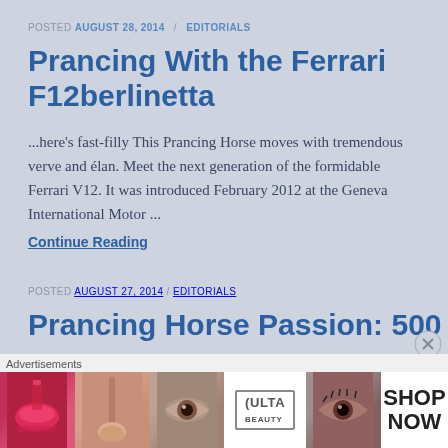POSTED AUGUST 28, 2014 / EDITORIALS
Prancing With the Ferrari F12berlinetta
...here's fast-filly This Prancing Horse moves with tremendous verve and élan. Meet the next generation of the formidable Ferrari V12. It was introduced February 2012 at the Geneva International Motor ...
Continue Reading
POSTED AUGUST 27, 2014 / EDITORIALS
Prancing Horse Passion: 500 GTB
[Figure (advertisement): Ulta beauty advertisement banner with makeup imagery, lipstick, brushes, eyes, and SHOP NOW text]